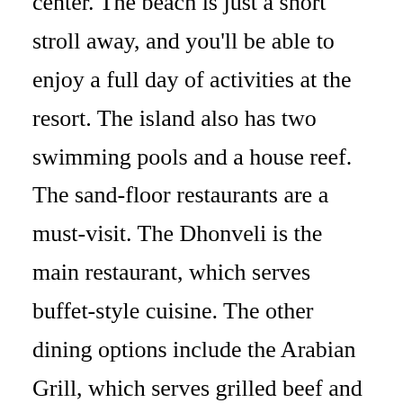center. The beach is just a short stroll away, and you'll be able to enjoy a full day of activities at the resort. The island also has two swimming pools and a house reef. The sand-floor restaurants are a must-visit. The Dhonveli is the main restaurant, which serves buffet-style cuisine. The other dining options include the Arabian Grill, which serves grilled beef and seafood. The Dhonveli is a sand-floor restaurant, and it is situated on the beach. The two restaurants are connected